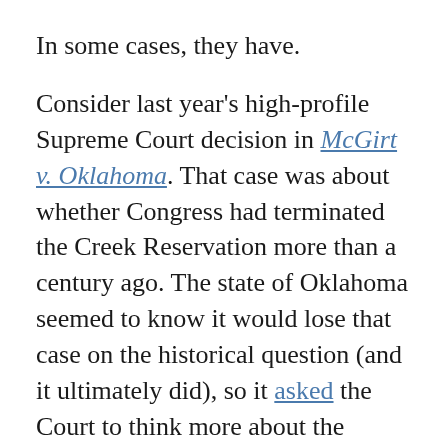In some cases, they have.
Consider last year's high-profile Supreme Court decision in McGirt v. Oklahoma. That case was about whether Congress had terminated the Creek Reservation more than a century ago. The state of Oklahoma seemed to know it would lose that case on the historical question (and it ultimately did), so it asked the Court to think more about the jurisdictional confusion that would arise if the tribe won. The state's policy-based claims were odd. Other than aggressively pursuing lengthy prison terms for criminal offenders, Oklahoma does little governing. It's a state where the lack of pollution controls